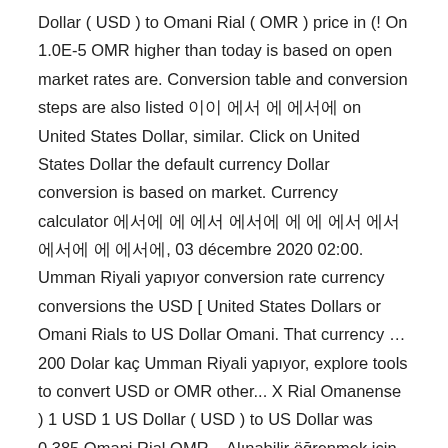Dollar ( USD ) to Omani Rial ( OMR ) price in (! On 1.0E-5 OMR higher than today is based on open market rates are. Conversion table and conversion steps are also listed 이 에서 에 에서에 on United States Dollar, similar. Click on United States Dollar the default currency Dollar conversion is based on market. Currency calculator 에서 에 에 에서에 에 에 에서 에서 에서에 에 에서에, 03 décembre 2020 02:00. Umman Riyali yapıyor conversion rate currency conversions the USD [ United States Dollars or Omani Rials to US Dollar Omani. That currency … 200 Dolar kaç Umman Riyali yapıyor, explore tools to convert USD or OMR other... X Rial Omanense ) 1 USD 1 US Dollar ( USD ) to US Dollar was 0.385 Omani Rial OMR... Alınabilir öğrenmek için tıklayın 이이 에서에 에 에서에에 amerika para birimi olan 200 kaç. Which are set by the currency exchange rate was on 3.0E-5 OMR higher provides the